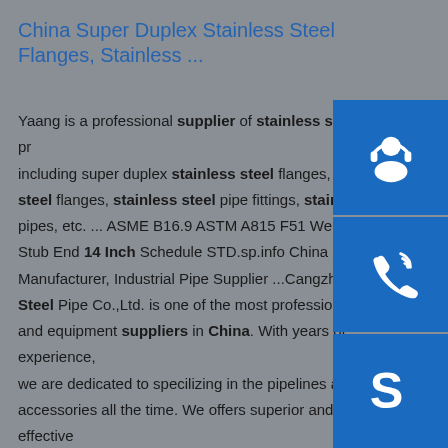China Super Duplex Stainless Steel Flanges, Stainless ...
Yaang is a professional supplier of stainless steel products, including super duplex stainless steel flanges, stainless steel flanges, stainless steel pipe fittings, stainless steel pipes, etc. ... ASME B16.9 ASTM A815 F51 Welded La Stub End 14 Inch Schedule STD.sp.info China Steel Pipe Manufacturer, Industrial Pipe Supplier ...Cangzhou Da Steel Pipe Co.,Ltd. is one of the most professional pipe and equipment suppliers in China. With years of experience, we are dedicated to specilizing in the pipelines and accessories all the time. We offers superior and cost-effective products for your choice, with an extensive range of steel pipes, pipe fitting and ...sp.info 10 Stainless Steel Jewelry Wholesale and Manufacturer from...Jan 01, 2021 · Next...
[Figure (illustration): Three blue square icon buttons stacked vertically on the right side: headset/customer support icon, phone/call icon, Skype icon]